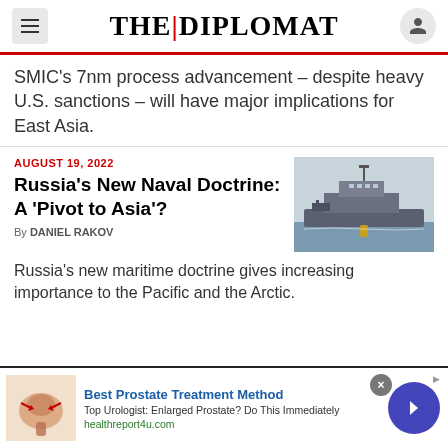THE DIPLOMAT
SMIC's 7nm process advancement – despite heavy U.S. sanctions – will have major implications for East Asia.
AUGUST 19, 2022
Russia's New Naval Doctrine: A 'Pivot to Asia'?
By DANIEL RAKOV
[Figure (photo): A Russian naval warship docked at a harbor, grey ship with military equipment visible]
Russia's new maritime doctrine gives increasing importance to the Pacific and the Arctic.
[Figure (illustration): Medical advertisement showing prostate anatomy illustration with red arrows]
Best Prostate Treatment Method
Top Urologist: Enlarged Prostate? Do This Immediately
healthreport4u.com